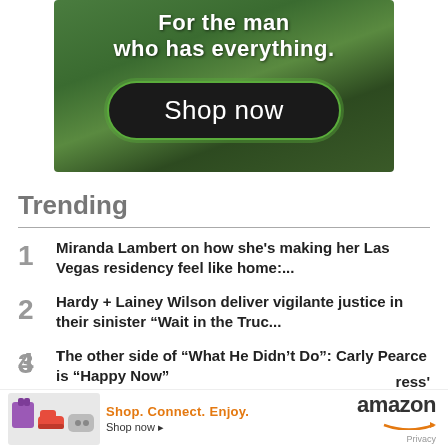[Figure (photo): Advertisement banner with green camouflage background showing 'For the man who has everything.' text and a 'Shop now' button with dark rounded rectangle and green border.]
Trending
1 Miranda Lambert on how she's making her Las Vegas residency feel like home:...
2 Hardy + Lainey Wilson deliver vigilante justice in their sinister “Wait in the Truc...
3 The other side of “What He Didn’t Do”: Carly Pearce is “Happy Now”
[Figure (photo): Amazon advertisement banner showing shopping items (cat plushie, sneakers, game controller), 'Shop. Connect. Enjoy. Shop now' text in orange, and the Amazon logo with curved arrow.]
4 ress' ...st